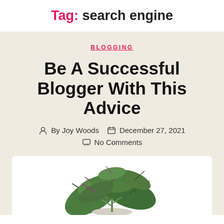Tag: search engine
BLOGGING
Be A Successful Blogger With This Advice
By Joy Woods  December 27, 2021  No Comments
[Figure (photo): A potted plant with green and purple-veined leaves on a white background, partially cropped at the bottom of the page.]